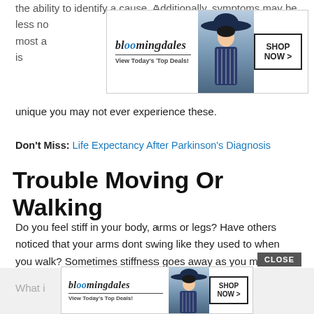the ability to identify a cause. Additionally, symptoms may be less noticeable ... most a... ms is unique you may not ever experience these.
[Figure (screenshot): Bloomingdale's advertisement banner at top with logo, 'View Today's Top Deals!', fashion model in hat, and SHOP NOW > button]
Don't Miss: Life Expectancy After Parkinson's Diagnosis
Trouble Moving Or Walking
Do you feel stiff in your body, arms or legs? Have others noticed that your arms dont swing like they used to when you walk? Sometimes stiffness goes away as you move. If it does not, it can be a sign of Parkinson's disease. An early sign might be stiffness or pain in your shoulder or hips. People sometimes say their feet seem stuck to the floor.
[Figure (screenshot): Bloomingdale's advertisement banner at bottom with logo, 'View Today's Top Deals!', fashion model in hat, and SHOP NOW > button. Has CLOSE button overlay.]
What i... r, you